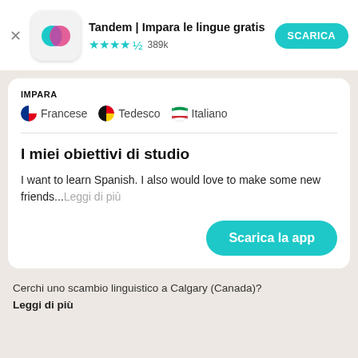[Figure (logo): Tandem app icon with teal and pink overlapping speech bubbles on white rounded square background]
Tandem | Impara le lingue gratis
★★★★½ 389k
SCARICA
IMPARA
🇫🇷 Francese   🇩🇪 Tedesco   🇮🇹 Italiano
I miei obiettivi di studio
I want to learn Spanish. I also would love to make some new friends...Leggi di più
Scarica la app
Cerchi uno scambio linguistico a Calgary (Canada)?
Leggi di più